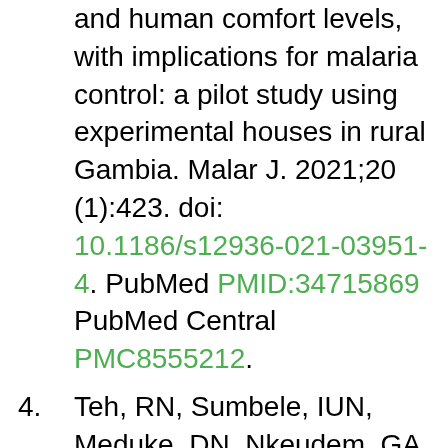and human comfort levels, with implications for malaria control: a pilot study using experimental houses in rural Gambia. Malar J. 2021;20 (1):423. doi: 10.1186/s12936-021-03951-4. PubMed PMID:34715869 PubMed Central PMC8555212.
4. Teh, RN, Sumbele, IUN, Meduke, DN, Nkeudem, GA, Ojong, ST, Teh, EA et al.. Insecticide-treated net ownership, utilization and knowledge of malaria in children residing in Batoke, Limbo, Mount